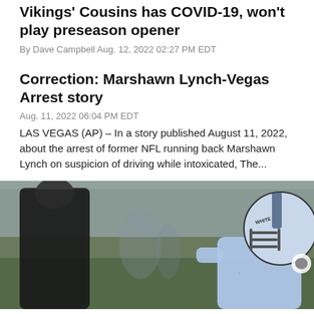Vikings' Cousins has COVID-19, won't play preseason opener
By Dave Campbell Aug. 12, 2022 02:27 PM EDT
Correction: Marshawn Lynch-Vegas Arrest story
Aug. 11, 2022 06:04 PM EDT
LAS VEGAS (AP) – In a story published August 11, 2022, about the arrest of former NFL running back Marshawn Lynch on suspicion of driving while intoxicated, The...
[Figure (photo): Football player wearing a white helmet and light blue jersey with Raiders logo, speaking with a coach in dark clothing on a practice field]